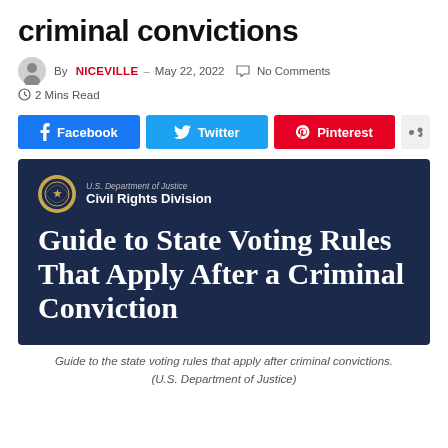criminal convictions
By NICEVILLE – May 22, 2022  No Comments  2 Mins Read
[Figure (infographic): Social share buttons: Facebook (blue), Twitter (light blue), Pinterest (red), and a share icon button (grey)]
[Figure (photo): U.S. Department of Justice Civil Rights Division banner image with text: Guide to State Voting Rules That Apply After a Criminal Conviction]
Guide to the state voting rules that apply after criminal convictions. (U.S. Department of Justice)